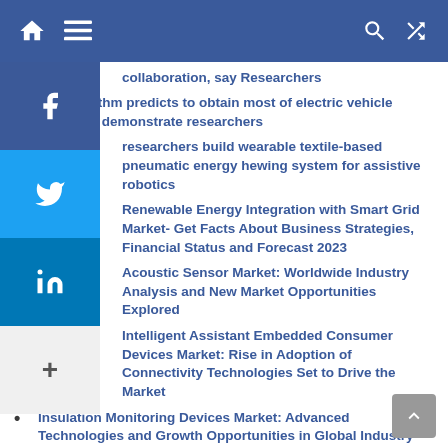Navigation bar with home, menu, search, and shuffle icons
collaboration, say Researchers (partial/cut off)
ML algorithm predicts to obtain most of electric vehicle batteries, demonstrate researchers
researchers build wearable textile-based pneumatic energy hewing system for assistive robotics
Renewable Energy Integration with Smart Grid Market- Get Facts About Business Strategies, Financial Status and Forecast 2023
Acoustic Sensor Market: Worldwide Industry Analysis and New Market Opportunities Explored
Intelligent Assistant Embedded Consumer Devices Market: Rise in Adoption of Connectivity Technologies Set to Drive the Market
Insulation Monitoring Devices Market: Advanced Technologies and Growth Opportunities in Global Industry
CAGR of ~5% | Retort Packaging Market Analysis, Size, Share, Growth, Trends and Forecast 2027